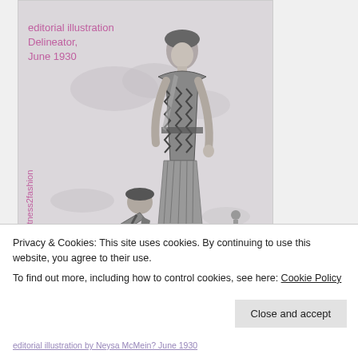[Figure (illustration): Editorial illustration from Delineator, June 1930. A tall woman in a patterned zigzag knit dress and matching coat stands elegantly. A second figure (child or smaller person) bends down in the foreground. A small figure stands in the background. Clouds are sketched in the background. Watermark text 'witness2fashion' appears vertically on the left side.]
Privacy & Cookies: This site uses cookies. By continuing to use this website, you agree to their use.
To find out more, including how to control cookies, see here: Cookie Policy
Close and accept
editorial illustration by Neysa McMein? June 1930